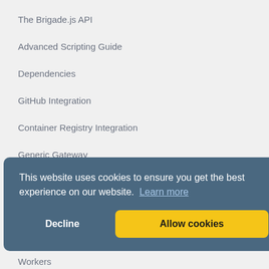The Brigade.js API
Advanced Scripting Guide
Dependencies
GitHub Integration
Container Registry Integration
Generic Gateway
Secret Management
Gateways
This website uses cookies to ensure you get the best experience on our website. Learn more
Decline  Allow cookies
Workers